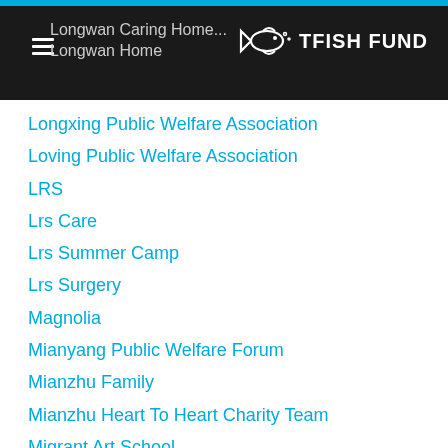Longwan Caring Home / Longwan Home — TFISH FUND
Longxing Public Welfare Association
Loving Public Welfare Association
LRS
Lrs Care
Lrs Summer Camp
Lrs Surgery
Magnolia
Mianyang Public Welfare Forum
Mianzhu Family
Mianzhu Heart To Heart Charity Team
Migrant Art School
Migrant Art School
Migrant School
Mingda School
Miscellaneous
Mrs. Zhou
Muhao Community Activity Center